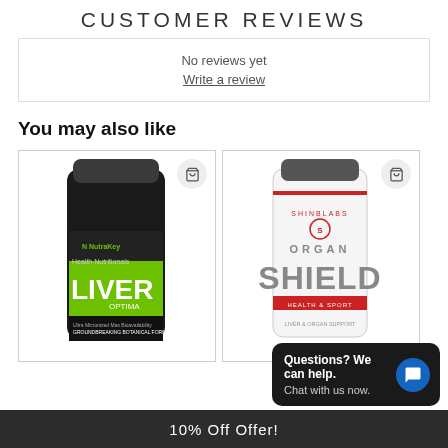CUSTOMER REVIEWS
No reviews yet
Write a review
You may also like
[Figure (photo): NutraKey Liver Optima supplement bottle, dark bottle with green label]
[Figure (photo): Organ Shield supplement bottle, white bottle with red label (ShinLabs brand)]
10% Off Offer!
Questions? We can help. Chat with us now.